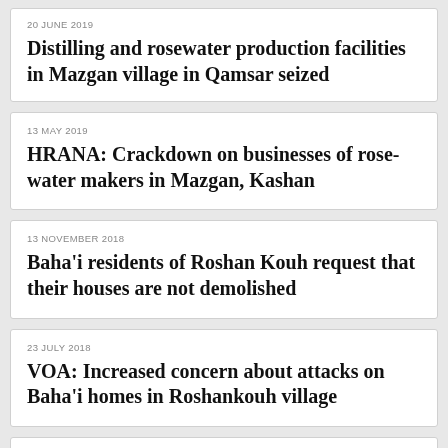20 JUNE 2019 — Distilling and rosewater production facilities in Mazgan village in Qamsar seized
13 MAY 2019 — HRANA: Crackdown on businesses of rosewater makers in Mazgan, Kashan
13 NOVEMBER 2018 — Baha'i residents of Roshan Kouh request that their houses are not demolished
23 JULY 2018 — VOA: Increased concern about attacks on Baha'i homes in Roshankouh village
FEBRUARY 2018 — Letter from the grandchild of Hosein Khandel